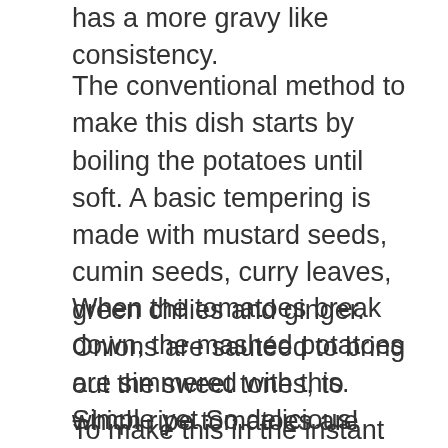has a more gravy like consistency.
The conventional method to make this dish starts by boiling the potatoes until soft. A basic tempering is made with mustard seeds, cumin seeds, curry leaves, green chilies and ginger. Onions are sautéed to bring out the sweet tones, to which ripe tomatoes are added.
When the tomatoes break down, the mashed potatoes are simmered with this. Simple yet So delicious!
To make this in the instant pot, we simply